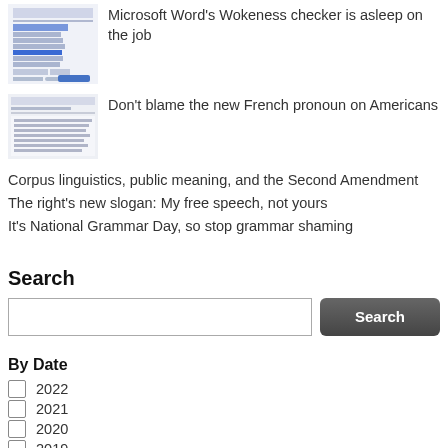Microsoft Word's Wokeness checker is asleep on the job
Don't blame the new French pronoun on Americans
Corpus linguistics, public meaning, and the Second Amendment
The right's new slogan: My free speech, not yours
It's National Grammar Day, so stop grammar shaming
Search
By Date
2022
2021
2020
2019